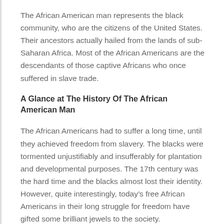The African American man represents the black community, who are the citizens of the United States. Their ancestors actually hailed from the lands of sub-Saharan Africa. Most of the African Americans are the descendants of those captive Africans who once suffered in slave trade.
A Glance at The History Of The African American Man
The African Americans had to suffer a long time, until they achieved freedom from slavery. The blacks were tormented unjustifiably and insufferably for plantation and developmental purposes. The 17th century was the hard time and the blacks almost lost their identity. However, quite interestingly, today’s free African Americans in their long struggle for freedom have gifted some brilliant jewels to the society.
Some of the African American exponents whose inventions have influenced the society to a great extent